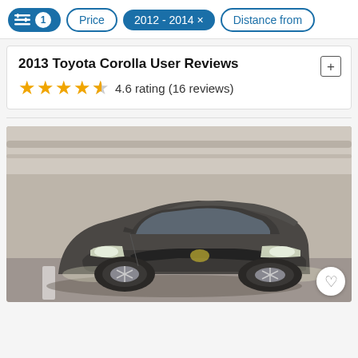Filter controls: [settings icon] 1 | Price | 2012 - 2014 × | Distance from
2013 Toyota Corolla User Reviews
4.6 rating (16 reviews)
[Figure (photo): Dark gray 2013 Toyota Corolla sedan photographed from the front-left angle in a concrete parking garage. Headlights are on. White parking line visible on floor in lower left.]